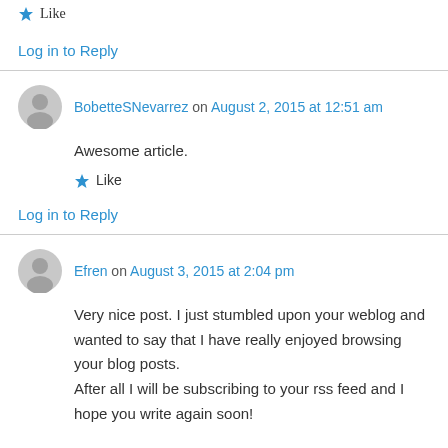Like
Log in to Reply
BobetteSNevarrez on August 2, 2015 at 12:51 am
Awesome article.
Like
Log in to Reply
Efren on August 3, 2015 at 2:04 pm
Very nice post. I just stumbled upon your weblog and wanted to say that I have really enjoyed browsing your blog posts. After all I will be subscribing to your rss feed and I hope you write again soon!